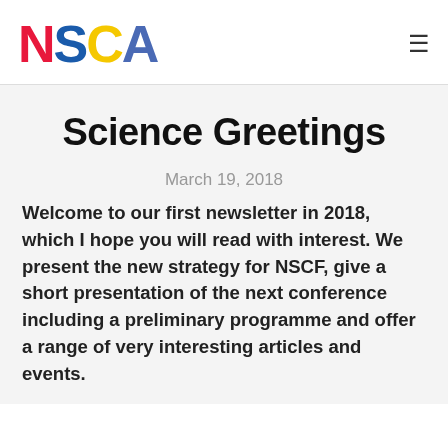NSCA
Science Greetings
March 19, 2018
Welcome to our first newsletter in 2018, which I hope you will read with interest. We present the new strategy for NSCF, give a short presentation of the next conference including a preliminary programme and offer a range of very interesting articles and events.